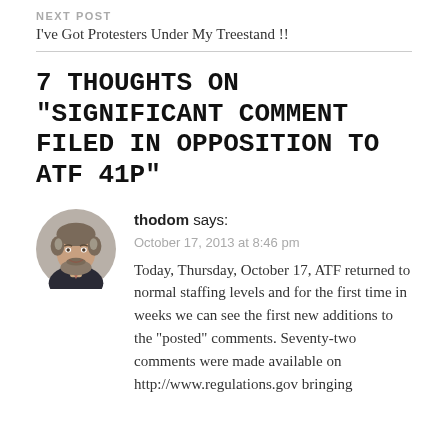NEXT POST
I've Got Protesters Under My Treestand !!
7 THOUGHTS ON "SIGNIFICANT COMMENT FILED IN OPPOSITION TO ATF 41P"
[Figure (photo): Circular avatar photo of a middle-aged man with gray and brown hair and a beard, wearing a dark suit and light tie, smiling.]
thodom says:
October 17, 2013 at 8:46 pm
Today, Thursday, October 17, ATF returned to normal staffing levels and for the first time in weeks we can see the first new additions to the "posted" comments. Seventy-two comments were made available on http://www.regulations.gov bringing